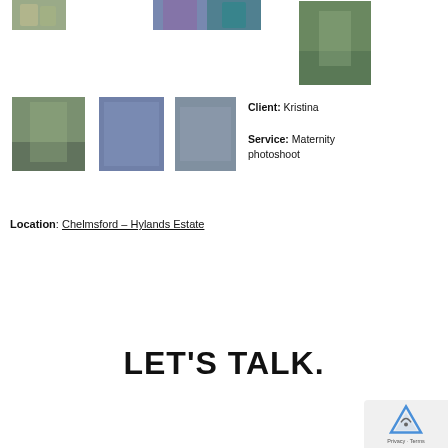[Figure (photo): Six outdoor photography session photos showing a couple/family, a girl with purple hair, a woman in teal dress, a garden scene with two people, a child in flowers, and a couple looking at a photo]
Client: Kristina
Service: Maternity photoshoot
Location: Chelmsford – Hylands Estate
LET'S TALK.
[Figure (logo): reCAPTCHA logo with Privacy - Terms text]